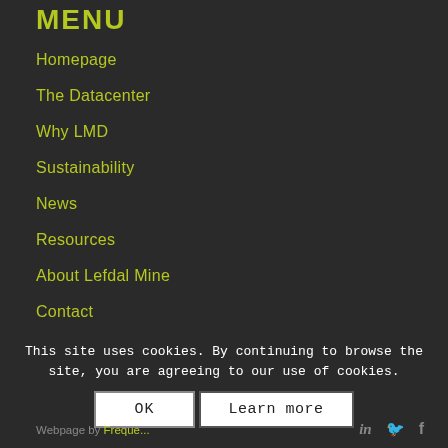MENU
Homepage
The Datacenter
Why LMD
Sustainability
News
Resources
About Lefdal Mine
Contact
Privacy Policy
This site uses cookies. By continuing to browse the site, you are agreeing to our use of cookies.
OK  Learn more
Webpage by Frequently  in  f